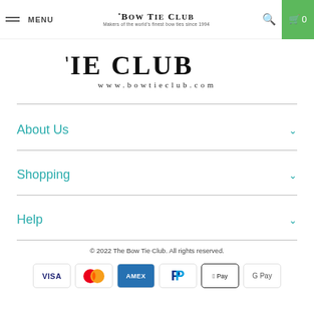MENU | THE BOW TIE CLUB Makers of the world's finest bow ties since 1994 | Search | Cart 0
[Figure (logo): The Bow Tie Club logo with text: THE BOW TIE CLUB www.bowtieclub.com]
About Us
Shopping
Help
© 2022 The Bow Tie Club. All rights reserved.
[Figure (other): Payment method icons: VISA, Mastercard, AMEX, PayPal, Apple Pay, Google Pay]